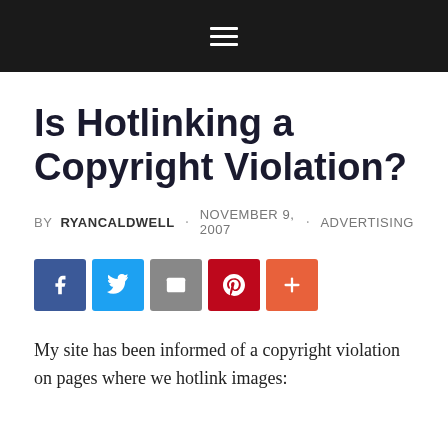≡
Is Hotlinking a Copyright Violation?
BY RYANCALDWELL · NOVEMBER 9, 2007 · ADVERTISING
[Figure (infographic): Social sharing buttons: Facebook (blue), Twitter (light blue), Email (grey), Pinterest (red), More/Plus (orange-red)]
My site has been informed of a copyright violation on pages where we hotlink images: